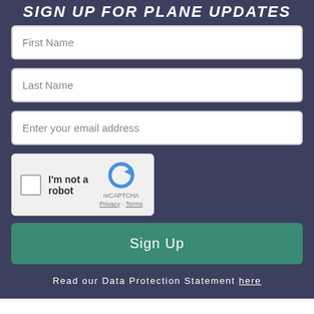SIGN UP FOR PLANE UPDATES
First Name
Last Name
Enter your email address
[Figure (other): reCAPTCHA widget with checkbox labeled I'm not a robot, and reCAPTCHA logo with Privacy and Terms links]
Sign Up
Read our Data Protection Statement here